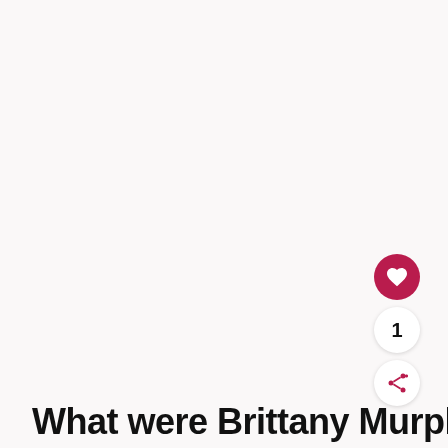What were Brittany Murphy's
[Figure (other): Heart/like button (dark red circular button with white heart icon), count badge showing '1', and share button (white circular button with share icon) — social interaction UI elements on right side of page]